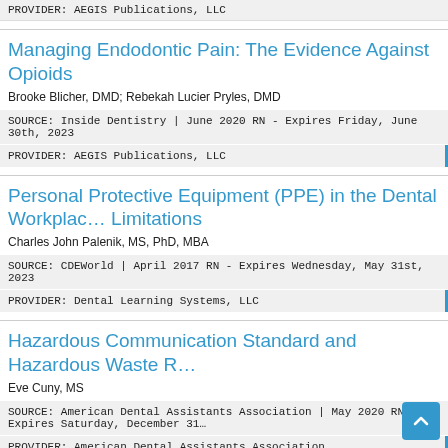PROVIDER: AEGIS Publications, LLC
Managing Endodontic Pain: The Evidence Against Opioids
Brooke Blicher, DMD; Rebekah Lucier Pryles, DMD
SOURCE: Inside Dentistry | June 2020 RN - Expires Friday, June 30th, 2023
PROVIDER: AEGIS Publications, LLC
Personal Protective Equipment (PPE) in the Dental Workplace: Limitations
Charles John Palenik, MS, PhD, MBA
SOURCE: CDEWorld | April 2017 RN - Expires Wednesday, May 31st, 2023
PROVIDER: Dental Learning Systems, LLC
Hazardous Communication Standard and Hazardous Waste R…
Eve Cuny, MS
SOURCE: American Dental Assistants Association | May 2020 RN - Expires Saturday, December 31…
PROVIDER: American Dental Assistants Association